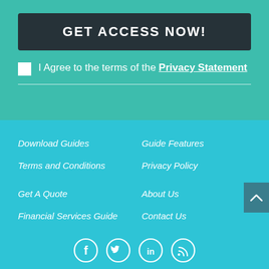GET ACCESS NOW!
I Agree to the terms of the Privacy Statement
Download Guides
Guide Features
Terms and Conditions
Privacy Policy
Get A Quote
About Us
Financial Services Guide
Contact Us
[Figure (infographic): Social media icons: Facebook, Twitter, LinkedIn, RSS feed — white circle outlines on cyan background]